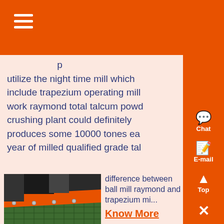utilize the night time mill which include trapezium operating mill work raymond total talcum powder crushing plant could definitely produces some 10000 tones each year of milled qualified grade talc
difference between ball mill raymond and trapezium mill
Know More
19-12-2020 0183 32 Trapezium mill vs ball mill difference between ball mill raymond and trapezium mill micronizer jet mill,soil
[Figure (photo): Industrial conveyor or screening equipment with orange and green components]